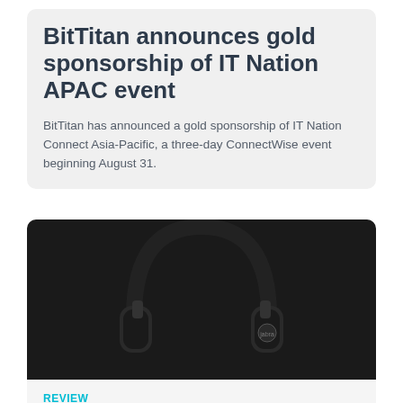BitTitan announces gold sponsorship of IT Nation APAC event
BitTitan has announced a gold sponsorship of IT Nation Connect Asia-Pacific, a three-day ConnectWise event beginning August 31.
[Figure (photo): Black over-ear headphones (Jabra Evolve2 75) photographed against a dark background]
REVIEW
Hands-on review: Jabra Evolve2 75